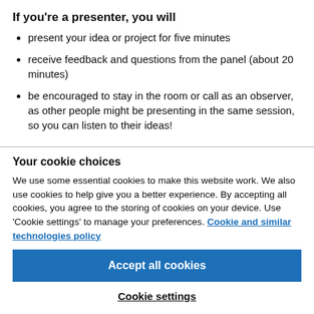If you're a presenter, you will
present your idea or project for five minutes
receive feedback and questions from the panel (about 20 minutes)
be encouraged to stay in the room or call as an observer, as other people might be presenting in the same session, so you can listen to their ideas!
Your cookie choices
We use some essential cookies to make this website work. We also use cookies to help give you a better experience. By accepting all cookies, you agree to the storing of cookies on your device. Use 'Cookie settings' to manage your preferences. Cookie and similar technologies policy
Accept all cookies
Cookie settings